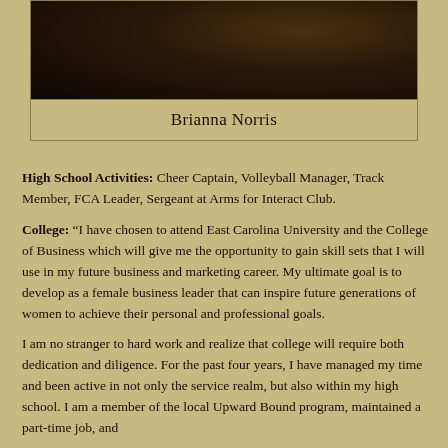[Figure (photo): Portrait photo of Brianna Norris, dark background]
Brianna Norris
High School Activities: Cheer Captain, Volleyball Manager, Track Member, FCA Leader, Sergeant at Arms for Interact Club.
College: “I have chosen to attend East Carolina University and the College of Business which will give me the opportunity to gain skill sets that I will use in my future business and marketing career. My ultimate goal is to develop as a female business leader that can inspire future generations of women to achieve their personal and professional goals.
I am no stranger to hard work and realize that college will require both dedication and diligence. For the past four years, I have managed my time and been active in not only the service realm, but also within my high school. I am a member of the local Upward Bound program, maintained a part-time job, and